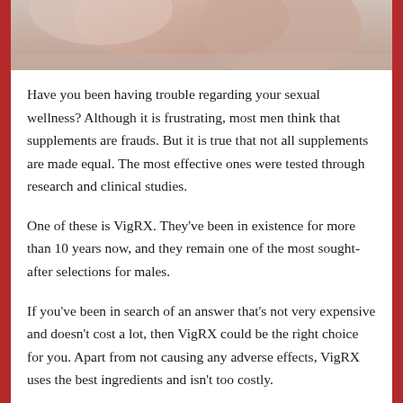[Figure (photo): Partial photo of a person, cropped at top of page showing skin/hands area]
Have you been having trouble regarding your sexual wellness? Although it is frustrating, most men think that supplements are frauds. But it is true that not all supplements are made equal. The most effective ones were tested through research and clinical studies.
One of these is VigRX. They've been in existence for more than 10 years now, and they remain one of the most sought-after selections for males.
If you've been in search of an answer that's not very expensive and doesn't cost a lot, then VigRX could be the right choice for you. Apart from not causing any adverse effects, VigRX uses the best ingredients and isn't too costly.
If you're not sure you're not sure, we wrote this review just for